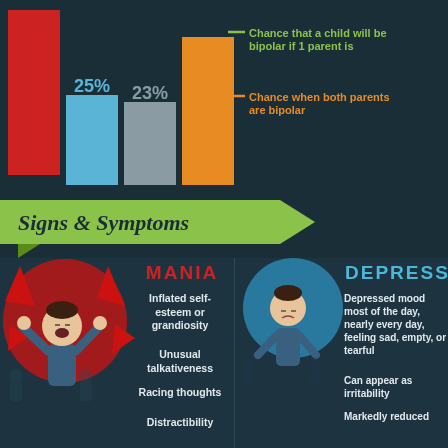[Figure (bar-chart): Chance of bipolar inheritance]
Chance that a child will be bipolar if 1 parent is
Chance when both parents are bipolar
Signs & Symptoms
[Figure (infographic): Mania section with illustration of distressed person with hands on head, red circle background]
MANIA
Inflated self-esteem or grandiosity
Unusual talkativeness
Racing thoughts
Distractibility
[Figure (infographic): Depression section with illustration of downcast person, blue circle background]
DEPRESS
Depressed mood most of the day, nearly every day, feeling sad, empty, or tearful
Can appear as irritability
Markedly reduced